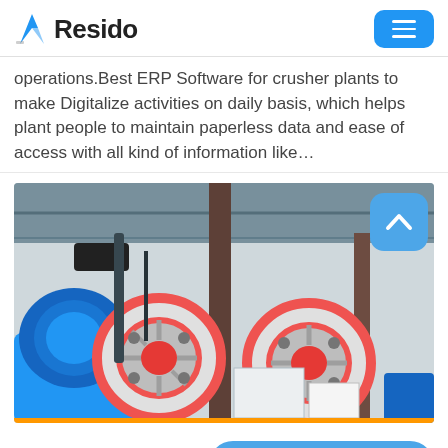Resido
operations.Best ERP Software for crusher plants to make Digitalize activities on daily basis, which helps plant people to maintain paperless data and ease of access with all kind of information like…
[Figure (photo): Industrial crusher plant machinery with large red-rimmed flywheels/pulleys and a blue electric motor, photographed from below inside a factory shed.]
Send Message   Free Consultation